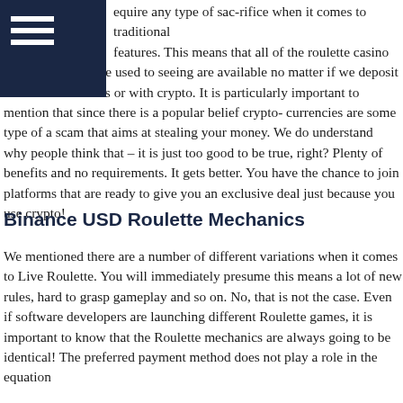☰ (navigation menu icon)
equire any type of sac-rifice when it comes to traditional features. This means that all of the roulette casino features that we are used to seeing are available no matter if we deposit with fiat currencies or with crypto. It is particularly important to mention that since there is a popular belief crypto-currencies are some type of a scam that aims at stealing your money. We do understand why people think that – it is just too good to be true, right? Plenty of benefits and no requirements. It gets better. You have the chance to join platforms that are ready to give you an exclusive deal just because you use crypto!
Binance USD Roulette Mechanics
We mentioned there are a number of different variations when it comes to Live Roulette. You will immediately presume this means a lot of new rules, hard to grasp gameplay and so on. No, that is not the case. Even if software developers are launching different Roulette games, it is important to know that the Roulette mechanics are always going to be identical! The preferred payment method does not play a role in the equation